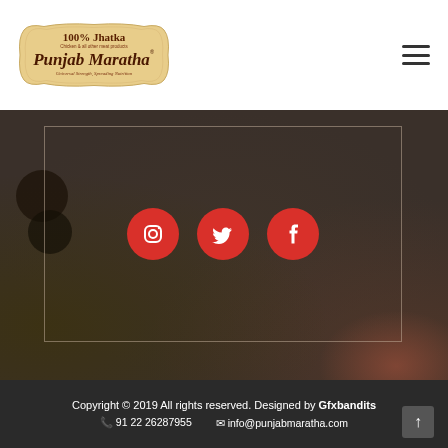[Figure (logo): Punjab Maratha logo — wooden badge shape with text '100% Jhatka', 'Chicken & all other meat products', 'Punjab Maratha®', 'Universal Strength, Spreading Nutrition']
[Figure (photo): Dark textured background image showing food items (coins and meat) in dark brownish tones, with an inner rectangular border outline and three red circular social media icons (Instagram, Twitter, Facebook) centered in the frame]
Copyright © 2019 All rights reserved. Designed by Gfxbandits  📞 91 22 26287955   ✉ info@punjabmaratha.com